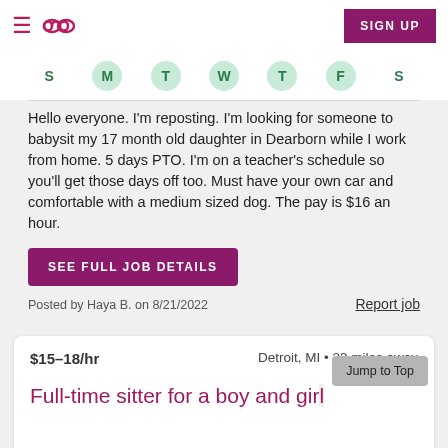SIGN UP
[Figure (other): Day-of-week circles: S, M, T, W, T, F, S with M, T, W, T, F highlighted in green]
Hello everyone. I'm reposting. I'm looking for someone to babysit my 17 month old daughter in Dearborn while I work from home. 5 days PTO. I'm on a teacher's schedule so you'll get those days off too. Must have your own car and comfortable with a medium sized dog. The pay is $16 an hour.
SEE FULL JOB DETAILS
Posted by Haya B. on 8/21/2022
Report job
$15–18/hr
Detroit, MI • 23 miles away
Full-time sitter for a boy and girl